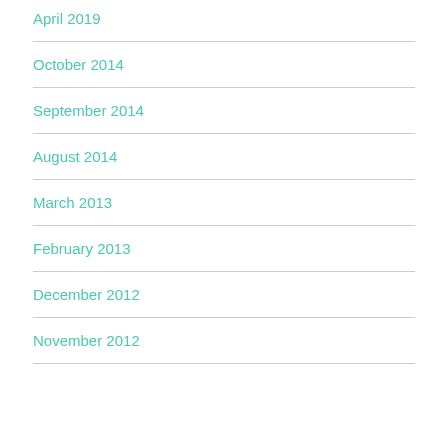April 2019
October 2014
September 2014
August 2014
March 2013
February 2013
December 2012
November 2012